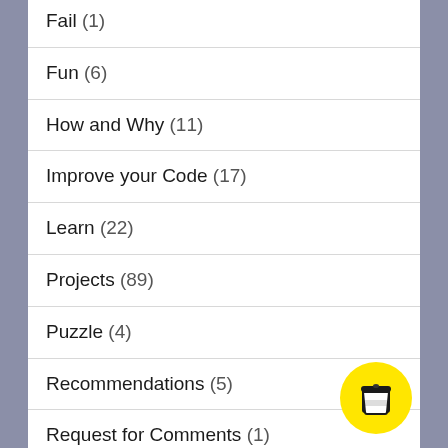Fail (1)
Fun (6)
How and Why (11)
Improve your Code (17)
Learn (22)
Projects (89)
Puzzle (4)
Recommendations (5)
Request for Comments (1)
Review (2)
[Figure (illustration): Yellow circular coffee cup button in bottom right corner]